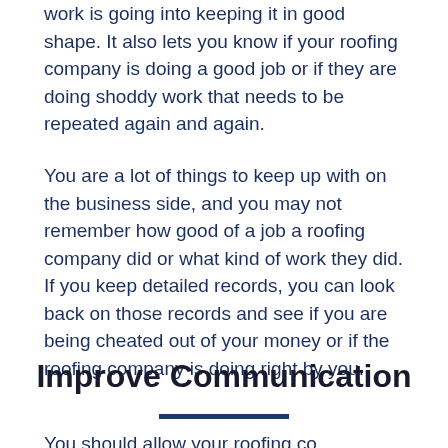work is going into keeping it in good shape. It also lets you know if your roofing company is doing a good job or if they are doing shoddy work that needs to be repeated again and again.
You are a lot of things to keep up with on the business side, and you may not remember how good of a job a roofing company did or what kind of work they did. If you keep detailed records, you can look back on those records and see if you are being cheated out of your money or if the roofing company is doing right by you.
Improve Communication
You should allow your roofing co